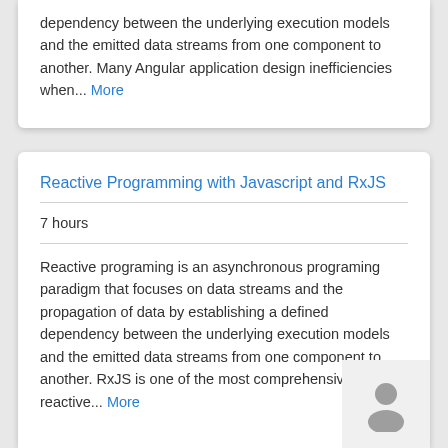dependency between the underlying execution models and the emitted data streams from one component to another. Many Angular application design inefficiencies when... More
Reactive Programming with Javascript and RxJS
7 hours
Reactive programing is an asynchronous programing paradigm that focuses on data streams and the propagation of data by establishing a defined dependency between the underlying execution models and the emitted data streams from one component to another. RxJS is one of the most comprehensive reactive... More